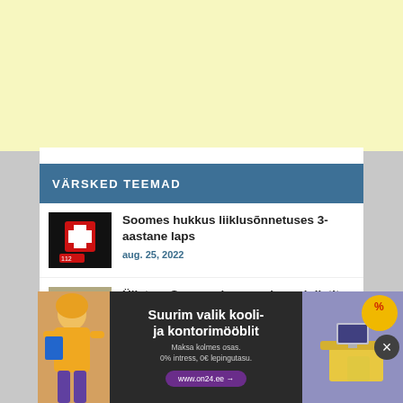[Figure (other): Yellow/cream colored advertisement banner at top of page]
VÄRSKED TEEMAD
[Figure (photo): Red cross medical/emergency sign on dark background]
Soomes hukkus liiklusõnnetuses 3-aastane laps
aug. 25, 2022
[Figure (photo): Airport or train station with escalators and people]
Üllatus: Soomes langevad rongipiletite hinnad
aug. 25, 2022
[Figure (other): Advertisement banner: Suurim valik kooli- ja kontorimööblit. Maksa kolmes osas. 0% intress, 0€ lepingutasu. www.on24.ee]